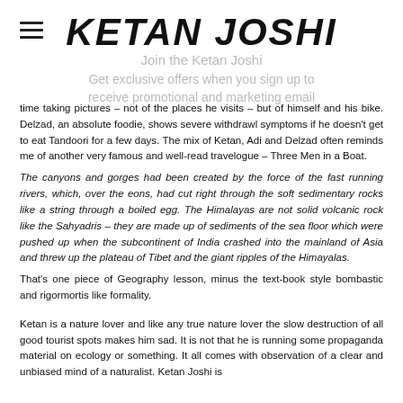KETAN JOSHI
Join the Ketan Joshi
Get exclusive offers when you sign up to
receive promotional and marketing email
time taking pictures – not of the places he visits – but of himself and his bike. Delzad, an absolute foodie, shows severe withdrawl symptoms if he doesn't get to eat Tandoori for a few days. The mix of Ketan, Adi and Delzad often reminds me of another very famous and well-read travelogue – Three Men in a Boat.
The canyons and gorges had been created by the force of the fast running rivers, which, over the eons, had cut right through the soft sedimentary rocks like a string through a boiled egg. The Himalayas are not solid volcanic rock like the Sahyadris – they are made up of sediments of the sea floor which were pushed up when the subcontinent of India crashed into the mainland of Asia and threw up the plateau of Tibet and the giant ripples of the Himayalas.
That's one piece of Geography lesson, minus the text-book style bombastic and rigormortis like formality.
Ketan is a nature lover and like any true nature lover the slow destruction of all good tourist spots makes him sad. It is not that he is running some propaganda material on ecology or something. It all comes with observation of a clear and unbiased mind of a naturalist. Ketan Joshi is